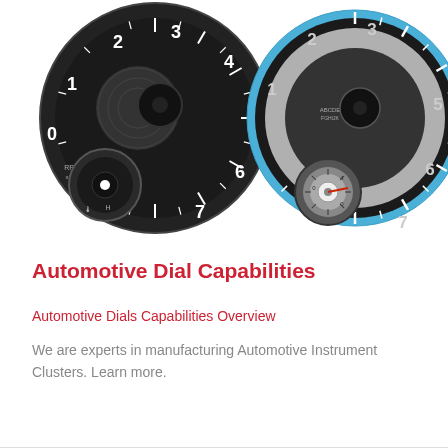[Figure (photo): Two automotive instrument cluster dials side by side. Left: a black tachometer dial with numbers 0-7 and RPM markings, with a smaller sub-dial. Right: a silver/grey tachometer dial with a blue outer ring, numbers 1-7, and a smaller sub-dial with a red marker. The two dials are connected by a small square connector element.]
Automotive Dial Capabilities
Automotive Dials Capabilities Overview
We are experts in manufacturing Automotive Instrument Clusters. Learn more.